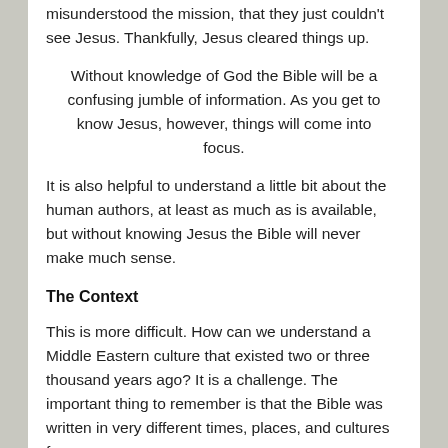misunderstood the mission, that they just couldn't see Jesus. Thankfully, Jesus cleared things up.
Without knowledge of God the Bible will be a confusing jumble of information. As you get to know Jesus, however, things will come into focus.
It is also helpful to understand a little bit about the human authors, at least as much as is available, but without knowing Jesus the Bible will never make much sense.
The Context
This is more difficult. How can we understand a Middle Eastern culture that existed two or three thousand years ago? It is a challenge. The important thing to remember is that the Bible was written in very different times, places, and cultures from ours.